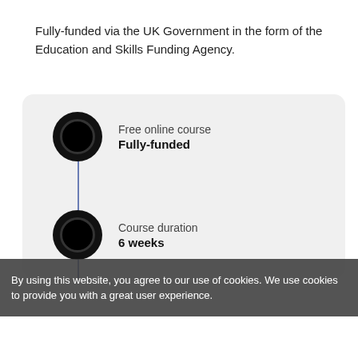Fully-funded via the UK Government in the form of the Education and Skills Funding Agency.
Free online course
Fully-funded
Course duration
6 weeks
Support
Expert tutor support available
Experience
By using this website, you agree to our use of cookies. We use cookies to provide you with a great user experience.